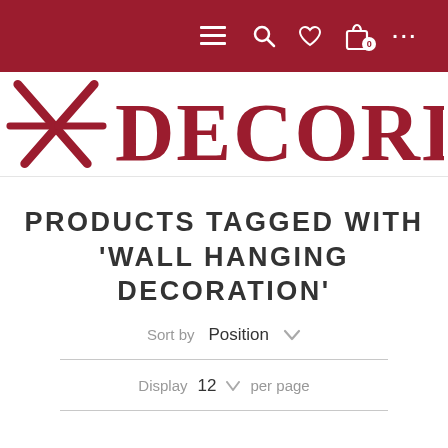Navigation bar with menu, search, wishlist, cart (0), more icons
[Figure (logo): Decorlake logo with two crossed decorative arrows forming a house/chevron shape in dark red, followed by DECORLAKE text in serif dark red font]
PRODUCTS TAGGED WITH 'WALL HANGING DECORATION'
Sort by Position
Display 12 per page